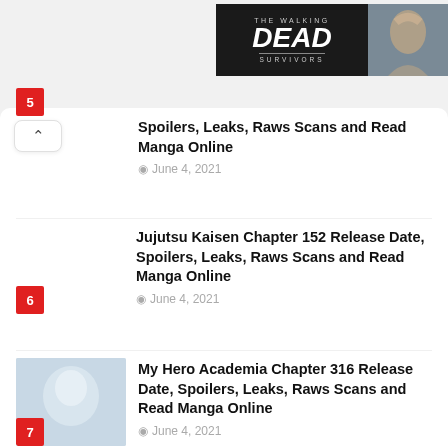[Figure (photo): The Walking Dead Survivors game advertisement banner with dark background and character image]
Spoilers, Leaks, Raws Scans and Read Manga Online — June 4, 2021 — Item 5
Jujutsu Kaisen Chapter 152 Release Date, Spoilers, Leaks, Raws Scans and Read Manga Online — June 4, 2021 — Item 6
My Hero Academia Chapter 316 Release Date, Spoilers, Leaks, Raws Scans and Read Manga Online — June 4, 2021 — Item 7
One Piece Chapter 1016 Release Date, Spoilers, Leaks, Raws Scans and Read Manga Online — June 4, 2021 — Item 8